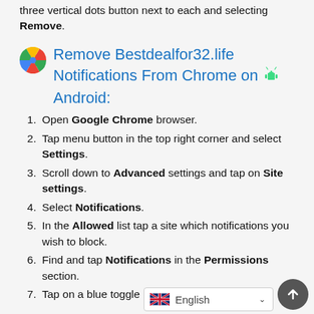three vertical dots button next to each and selecting Remove.
Remove Bestdealfor32.life Notifications From Chrome on Android:
Open Google Chrome browser.
Tap menu button in the top right corner and select Settings.
Scroll down to Advanced settings and tap on Site settings.
Select Notifications.
In the Allowed list tap a site which notifications you wish to block.
Find and tap Notifications in the Permissions section.
Tap on a blue toggle next to it